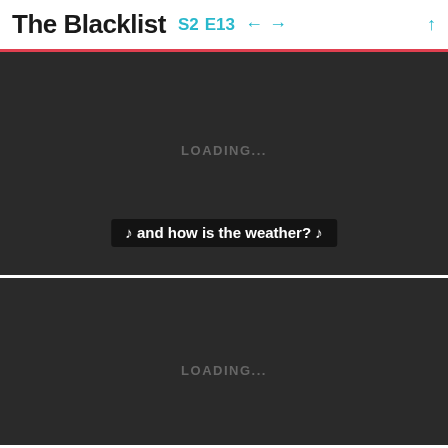The Blacklist S2 E13 ← → ↑
[Figure (screenshot): Dark video player panel with LOADING... text and subtitle: ♪ and how is the weather? ♪]
[Figure (screenshot): Dark video player panel with LOADING... text, no subtitle visible]